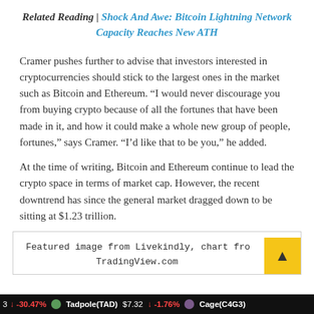Related Reading | Shock And Awe: Bitcoin Lightning Network Capacity Reaches New ATH
Cramer pushes further to advise that investors interested in cryptocurrencies should stick to the largest ones in the market such as Bitcoin and Ethereum. “I would never discourage you from buying crypto because of all the fortunes that have been made in it, and how it could make a whole new group of people, fortunes,” says Cramer. “I’d like that to be you,” he added.
At the time of writing, Bitcoin and Ethereum continue to lead the crypto space in terms of market cap. However, the recent downtrend has since the general market dragged down to be sitting at $1.23 trillion.
Featured image from Livekindly, chart from TradingView.com
3 ↓ -30.47% • Tadpole(TAD) $7.32 ↓ -1.76% • Cage(C4G3)